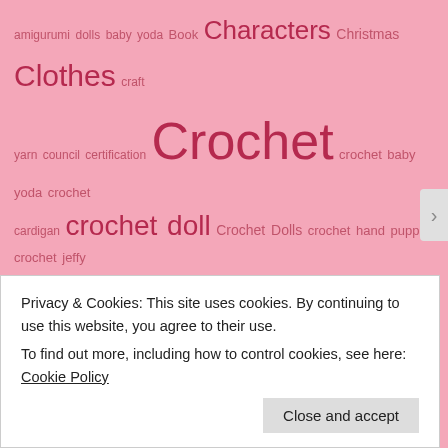[Figure (other): A tag cloud on a pink background showing various crochet/craft related tags in different sizes. Tags include: amigurumi, dolls, baby yoda, Book, Characters, Christmas, Clothes, craft, yarn council certification, Crochet, crochet baby yoda, crochet cardigan, crochet doll, Crochet Dolls, crochet hand puppet, crochet jeffy the puppet, crochet puppet, Crochet Squares, crochet swatches, Crochet Sweater, Crochet Tooth, crochet toy, Crochet Toys, Custom Order, daily post, Doll, Doll Clothes, Doll Eyes, Doll Hair, Dolls, Elsa, Freebie Friday, Frozen, ganchillo, Gift, Granny Squares, Granny Square Sweater, Halloween, handmade, handmade doll, hand puppet, hecho a mano, Inspiration, Jeffy the puppet, large crochet doll]
Privacy & Cookies: This site uses cookies. By continuing to use this website, you agree to their use. To find out more, including how to control cookies, see here: Cookie Policy
Close and accept